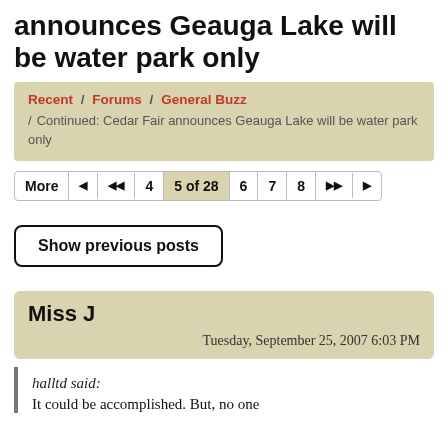announces Geauga Lake will be water park only
Recent / Forums / General Buzz / Continued: Cedar Fair announces Geauga Lake will be water park only
More | |< |<< 4 5 of 28 6 7 8 >>| >|
Show previous posts
Miss J
Tuesday, September 25, 2007 6:03 PM
halltd said: It could be accomplished. But, no one